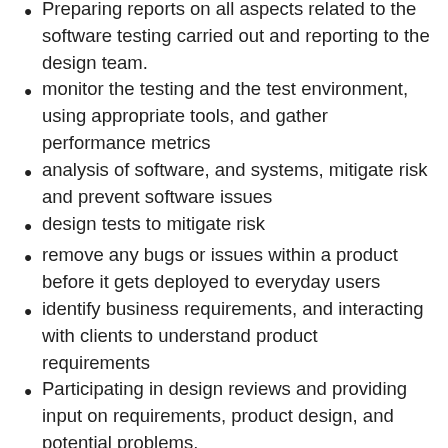Preparing reports on all aspects related to the software testing carried out and reporting to the design team.
monitor the testing and the test environment, using appropriate tools, and gather performance metrics
analysis of software, and systems, mitigate risk and prevent software issues
design tests to mitigate risk
remove any bugs or issues within a product before it gets deployed to everyday users
identify business requirements, and interacting with clients to understand product requirements
Participating in design reviews and providing input on requirements, product design, and potential problems.